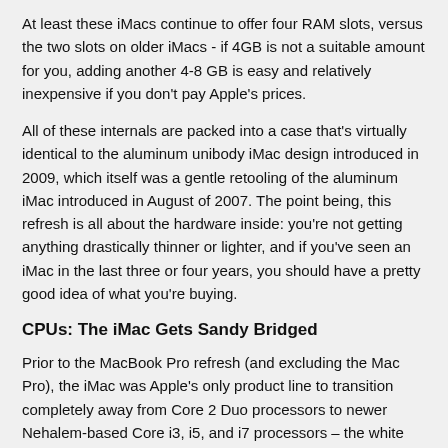At least these iMacs continue to offer four RAM slots, versus the two slots on older iMacs - if 4GB is not a suitable amount for you, adding another 4-8 GB is easy and relatively inexpensive if you don't pay Apple's prices.
All of these internals are packed into a case that's virtually identical to the aluminum unibody iMac design introduced in 2009, which itself was a gentle retooling of the aluminum iMac introduced in August of 2007. The point being, this refresh is all about the hardware inside: you're not getting anything drastically thinner or lighter, and if you've seen an iMac in the last three or four years, you should have a pretty good idea of what you're buying.
CPUs: The iMac Gets Sandy Bridged
Prior to the MacBook Pro refresh (and excluding the Mac Pro), the iMac was Apple's only product line to transition completely away from Core 2 Duo processors to newer Nehalem-based Core i3, i5, and i7 processors – the white MacBook, the Mac Mini, and the MacBook Air lines continue to use the Core 2 Duo along with nVidia chipsets to save space and energy, and to get around using Intel's previous-generation integrated graphics processor.